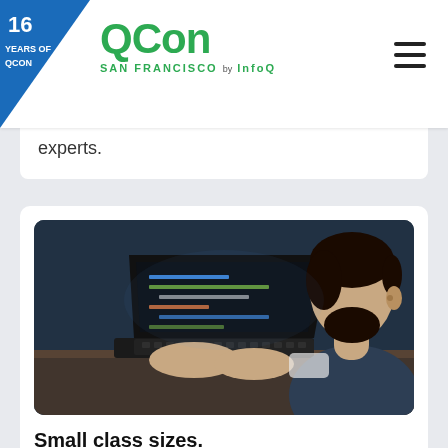16 YEARS OF QCON | QCon SAN FRANCISCO by InfoQ
experts.
[Figure (photo): A man with a beard sitting at a desk, typing on a laptop with code visible on the screen, photographed from the side.]
Small class sizes.
Get quality time with instructors to support your